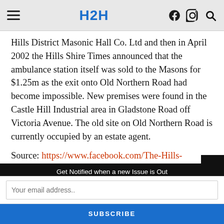H2H
Hills District Masonic Hall Co. Ltd and then in April 2002 the Hills Shire Times announced that the ambulance station itself was sold to the Masons for $1.25m as the exit onto Old Northern Road had become impossible. New premises were found in the Castle Hill Industrial area in Gladstone Road off Victoria Avenue. The old site on Old Northern Road is currently occupied by an estate agent.
Source: https://www.facebook.com/The-Hills-
Get Notified when a new Issue is Out
Your email address..
SUBSCRIBE